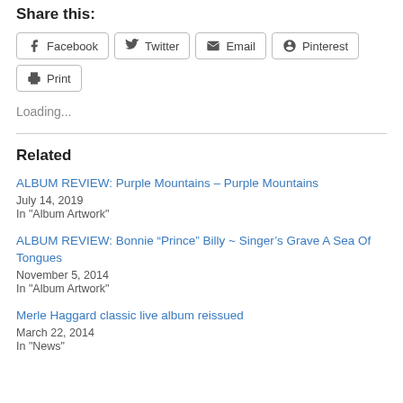Share this:
Facebook
Twitter
Email
Pinterest
Print
Loading...
Related
ALBUM REVIEW: Purple Mountains – Purple Mountains
July 14, 2019
In "Album Artwork"
ALBUM REVIEW: Bonnie “Prince” Billy ~ Singer’s Grave A Sea Of Tongues
November 5, 2014
In "Album Artwork"
Merle Haggard classic live album reissued
March 22, 2014
In "News"